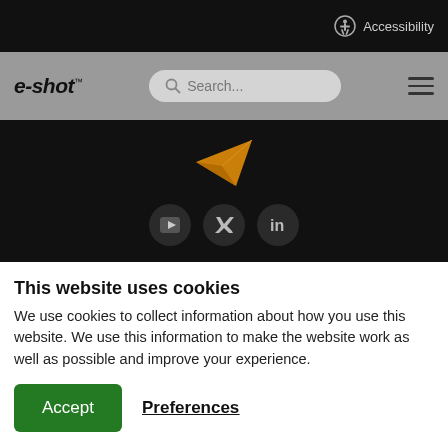Accessibility
[Figure (logo): e-shot logo with search bar and hamburger menu navigation]
[Figure (illustration): Orange paper plane icon and social media icons (YouTube, Twitter, LinkedIn) on dark background]
This website uses cookies
We use cookies to collect information about how you use this website. We use this information to make the website work as well as possible and improve your experience.
Accept  Preferences